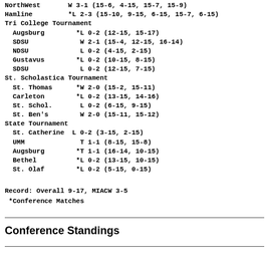NorthWest       W 3-1 (15-6, 4-15, 15-7, 15-9)
Hamline         *L 2-3 (15-10, 9-15, 6-15, 15-7, 6-15)
Tri College Tournament
Augsburg        *L 0-2 (12-15, 15-17)
SDSU             W 2-1 (15-4, 12-15, 16-14)
NDSU             L 0-2 (4-15, 2-15)
Gustavus        *L 0-2 (10-15, 8-15)
SDSU             L 0-2 (12-15, 7-15)
St. Scholastica Tournament
St. Thomas      *W 2-0 (15-2, 15-11)
Carleton        *L 0-2 (13-15, 14-16)
St. Schol.       L 0-2 (6-15, 9-15)
St. Ben's        W 2-0 (15-11, 15-12)
State Tournament
St. Catherine  L 0-2 (3-15, 2-15)
UMM              T 1-1 (8-15, 15-8)
Augsburg        *T 1-1 (16-14, 10-15)
Bethel          *L 0-2 (13-15, 10-15)
St. Olaf        *L 0-2 (5-15, 0-15)
Record: Overall 9-17, MIACW 3-5
 *Conference Matches
Conference Standings